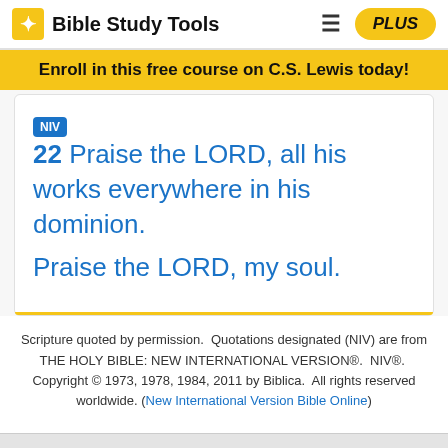Bible Study Tools | PLUS
Enroll in this free course on C.S. Lewis today!
NIV 22 Praise the LORD, all his works everywhere in his dominion. Praise the LORD, my soul.
Scripture quoted by permission.  Quotations designated (NIV) are from THE HOLY BIBLE: NEW INTERNATIONAL VERSION®.  NIV®.  Copyright © 1973, 1978, 1984, 2011 by Biblica.  All rights reserved worldwide. (New International Version Bible Online)